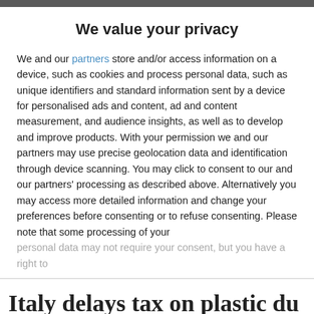We value your privacy
We and our partners store and/or access information on a device, such as cookies and process personal data, such as unique identifiers and standard information sent by a device for personalised ads and content, ad and content measurement, and audience insights, as well as to develop and improve products. With your permission we and our partners may use precise geolocation data and identification through device scanning. You may click to consent to our and our partners' processing as described above. Alternatively you may access more detailed information and change your preferences before consenting or to refuse consenting. Please note that some processing of your personal data may not require your consent, but you have a right to
ACCEPT
MORE OPTIONS
Italy delays tax on plastic due